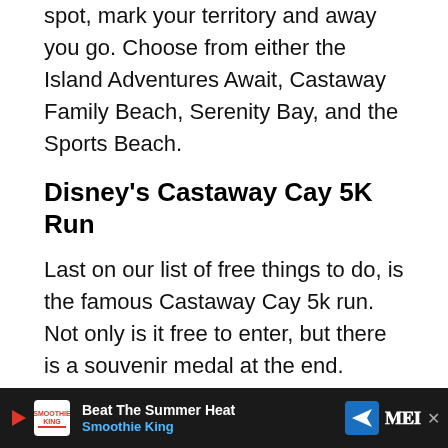spot, mark your territory and away you go. Choose from either the Island Adventures Await, Castaway Family Beach, Serenity Bay, and the Sports Beach.
Disney's Castaway Cay 5K Run
Last on our list of free things to do, is the famous Castaway Cay 5k run. Not only is it free to enter, but there is a souvenir medal at the end. Register at Guest services beforehand and you will find instructions in your stateroom. You will be given a timing to meet onboard, usually, around 8 am, and taken together to the starting point.
There needs to be a minimum of 10 participants, ov… happen.
[Figure (other): Advertisement banner for Smoothie King - Beat The Summer Heat]